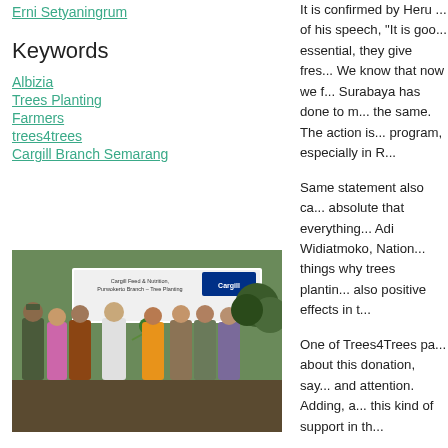Erni Setyaningrum
Keywords
Albizia
Trees Planting
Farmers
trees4trees
Cargill Branch Semarang
[Figure (photo): Group of people at a trees planting event with a Cargill Feed & Nutrition banner in the background, one person handing a tree sapling to another.]
It is confirmed by Heru ... of his speech, “It is goo... essential, they give fres... We know that now we f... Surabaya has done to m... the same. The action is... program, especially in R...
Same statement also ca... absolute that everything... Adi Widiatmoko, Nation... things why trees plantin... also positive effects in t...
One of Trees4Trees pa... about this donation, say... and attention. Adding, a... this kind of support in th...
1000 trees are distribut... in December and It is c...